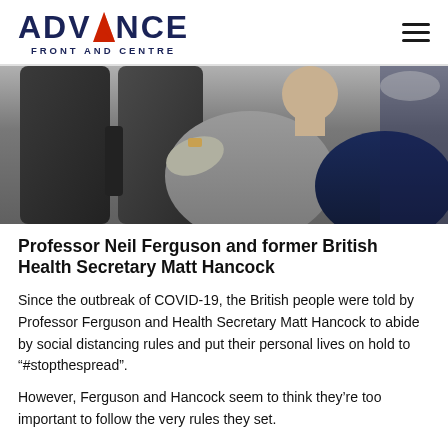ADVANCE FRONT AND CENTRE
[Figure (photo): Photo of two people seated in what appears to be airplane or vehicle seats, one wearing a grey top and another in dark clothing, seen from behind/side angle.]
Professor Neil Ferguson and former British Health Secretary Matt Hancock
Since the outbreak of COVID-19, the British people were told by Professor Ferguson and Health Secretary Matt Hancock to abide by social distancing rules and put their personal lives on hold to “#stopthespread”.
However, Ferguson and Hancock seem to think they’re too important to follow the very rules they set.